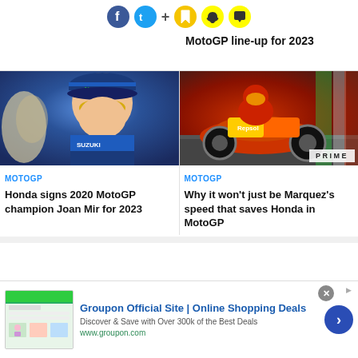Social share icons and save/notify buttons
MotoGP line-up for 2023
[Figure (photo): Portrait photo of Joan Mir wearing a Suzuki team cap with Monster Energy logo and yellow-tinted sunglasses]
MOTOGP
Honda signs 2020 MotoGP champion Joan Mir for 2023
[Figure (photo): Marc Marquez riding a Repsol Honda motorcycle on a race track, leaning into a corner, with a PRIME badge overlay]
MOTOGP
Why it won't just be Marquez's speed that saves Honda in MotoGP
[Figure (screenshot): Groupon advertisement banner with green shopping image and arrow button]